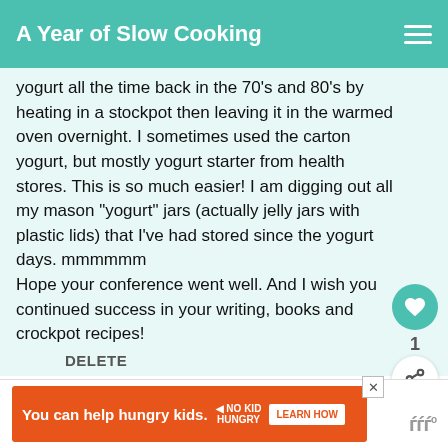A Year of Slow Cooking
yogurt all the time back in the 70's and 80's by heating in a stockpot then leaving it in the warmed oven overnight. I sometimes used the carton yogurt, but mostly yogurt starter from health stores. This is so much easier! I am digging out all my mason "yogurt" jars (actually jelly jars with plastic lids) that I've had stored since the yogurt days. mmmmmm
Hope your conference went well. And I wish you continued success in your writing, books and crockpot recipes!
DELETE
WHAT'S NEXT → Slow Cooking in the Real...
You can help hungry kids. NO KID HUNGRY LEARN HOW